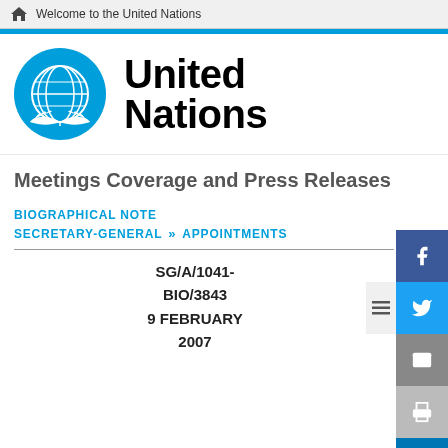Welcome to the United Nations
[Figure (logo): United Nations logo - blue globe with olive branches]
United Nations
Meetings Coverage and Press Releases
BIOGRAPHICAL NOTE
SECRETARY-GENERAL >> APPOINTMENTS
SG/A/1041-BIO/3843
9 FEBRUARY 2007